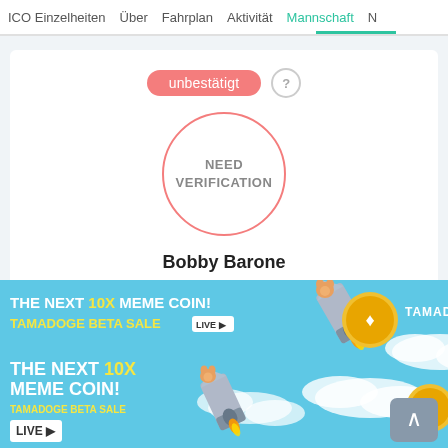ICO Einzelheiten  Über  Fahrplan  Aktivität  Mannschaft  N
unbestätigt
[Figure (illustration): Circle with pink border containing text NEED VERIFICATION]
Bobby Barone
Director Marketing Network Development & E-commer...
unbestätigt
[Figure (illustration): Advertisement banner for Tamadoge: THE NEXT 10X MEME COIN! TAMADOGE BETA SALE LIVE. Shows rocket, clouds, coin logo and Tamadoge text on cyan/blue background. Repeated twice in stacked format.]